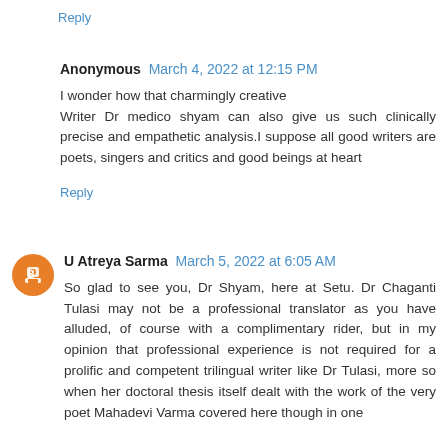Reply
Anonymous  March 4, 2022 at 12:15 PM
I wonder how that charmingly creative Writer Dr medico shyam can also give us such clinically precise and empathetic analysis.I suppose all good writers are poets, singers and critics and good beings at heart
Reply
U Atreya Sarma  March 5, 2022 at 6:05 AM
So glad to see you, Dr Shyam, here at Setu. Dr Chaganti Tulasi may not be a professional translator as you have alluded, of course with a complimentary rider, but in my opinion that professional experience is not required for a prolific and competent trilingual writer like Dr Tulasi, more so when her doctoral thesis itself dealt with the work of the very poet Mahadevi Varma covered here though in one